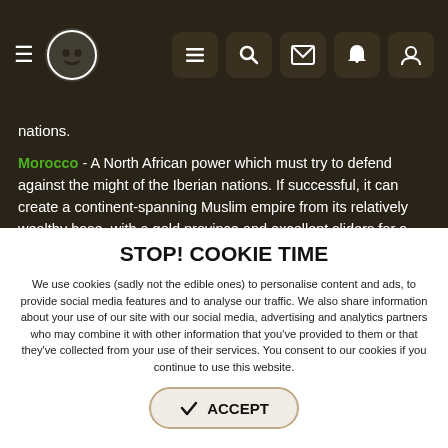Navigation header with hamburger menu, logo, and icon buttons
nations.
Morocco - A North African power which must try to defend against the might of the Iberian nations. If successful, it can create a continent-spanning Muslim empire from its relatively wealthy base, with a gold province and excellent sliders for a trading nation.
The Mamluks - able to defeat any of its rivals, eventually consuming all of the Muslim nations. From then, Europe is its playpen.
STOP! COOKIE TIME
We use cookies (sadly not the edible ones) to personalise content and ads, to provide social media features and to analyse our traffic. We also share information about your use of our site with our social media, advertising and analytics partners who may combine it with other information that you've provided to them or that they've collected from your use of their services. You consent to our cookies if you continue to use this website.
✓ ACCEPT